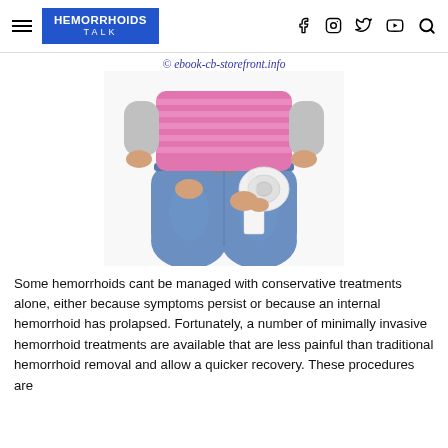HEMORRHOIDS TALK
[Figure (photo): Person standing with back to camera wearing pink striped shirt and blue jeans, holding a roll of toilet paper behind their back. Watermark: © ebook-cb-storefront.info]
Some hemorrhoids cant be managed with conservative treatments alone, either because symptoms persist or because an internal hemorrhoid has prolapsed. Fortunately, a number of minimally invasive hemorrhoid treatments are available that are less painful than traditional hemorrhoid removal and allow a quicker recovery. These procedures are